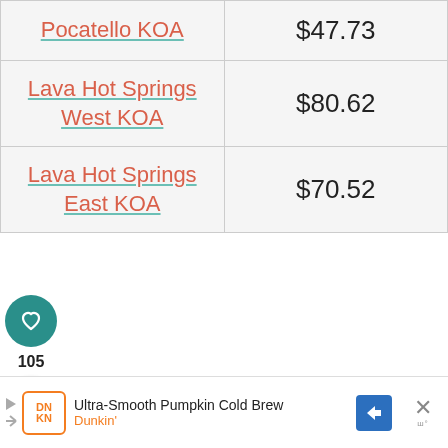| Location | Price |
| --- | --- |
| Pocatello KOA | $47.73 |
| Lava Hot Springs West KOA | $80.62 |
| Lava Hot Springs East KOA | $70.52 |
[Figure (infographic): Heart/like button (teal circle with heart icon), count label '105', and share button (white circle with share icon)]
WHAT'S NEXT → The Ultimate Guide to RV...
[Figure (photo): Thumbnail circular photo of green landscape for 'The Ultimate Guide to RV...' article]
Ultra-Smooth Pumpkin Cold Brew Dunkin'